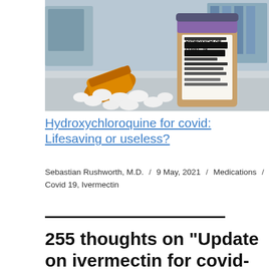[Figure (photo): Photo of a hydroxychloroquine prescription drug bottle labeled 'HYDROXYCHLOR COVID-19' with white pills spilled out on a surface, laboratory setting in background.]
Hydroxychloroquine for covid: Lifesaving or useless?
Sebastian Rushworth, M.D. / 9 May, 2021 / Medications / Covid 19, Ivermectin
255 thoughts on “Update on ivermectin for covid-19”